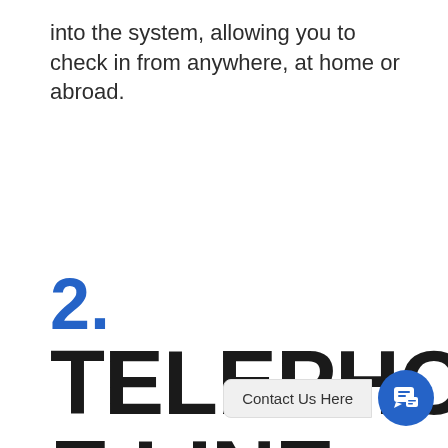into the system, allowing you to check in from anywhere, at home or abroad.
2.
TELEPHONE LINE REPAIRS IN